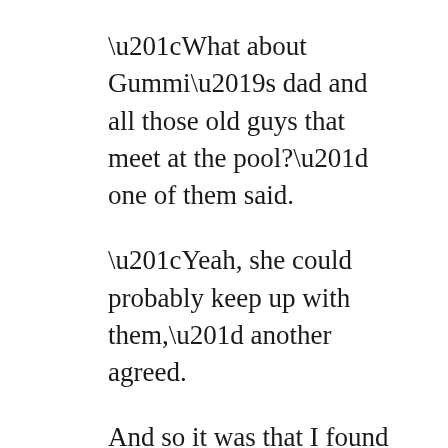“What about Gummi’s dad and all those old guys that meet at the pool?” one of them said.
“Yeah, she could probably keep up with them,” another agreed.
And so it was that I found my new running partners. They ranged in age from 47 to 72, and most of them were